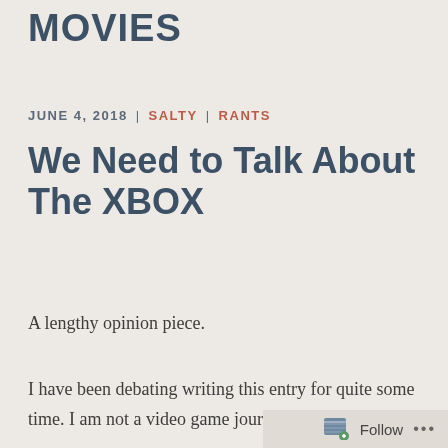MOVIES
JUNE 4, 2018 | SALTY | RANTS
We Need to Talk About The XBOX
A lengthy opinion piece.
I have been debating writing this entry for quite some time. I am not a video game journalist, and
Follow ...